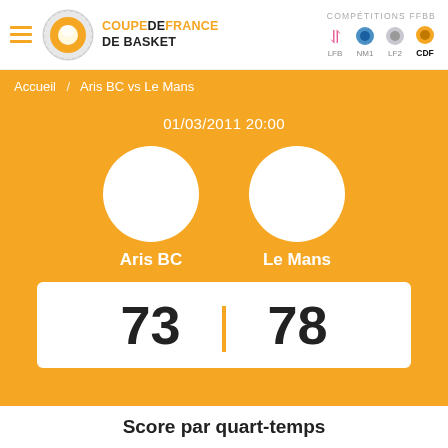[Figure (logo): Coupe de France de Basket logo with hamburger menu and navigation icons for LFB, NM1, LF2, CDF competitions]
Accueil / Aris BC vs Le Mans
01/03/2011 20:00
[Figure (illustration): White circular team logo placeholder for Aris BC]
[Figure (illustration): White circular team logo placeholder for Le Mans]
Aris BC
Le Mans
73 | 78
Score par quart-temps